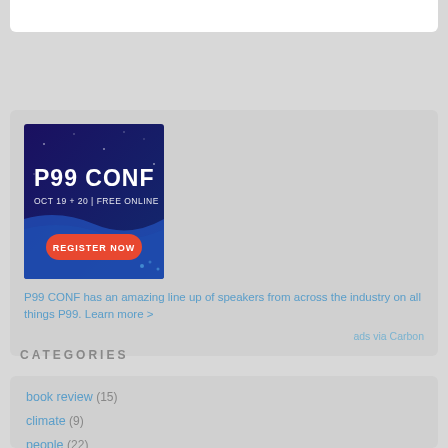[Figure (screenshot): P99 CONF advertisement banner: dark blue/purple background with text 'P99 CONF OCT 19 + 20 | FREE ONLINE' and a red 'REGISTER NOW' button]
P99 CONF has an amazing line up of speakers from across the industry on all things P99. Learn more >
ads via Carbon
CATEGORIES
book review (15)
climate (9)
people (22)
process (148)